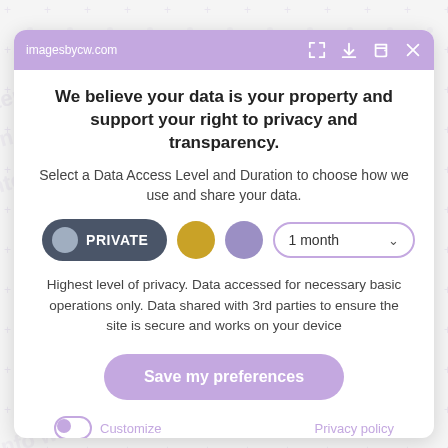imagesbycw.com
We believe your data is your property and support your right to privacy and transparency.
Select a Data Access Level and Duration to choose how we use and share your data.
[Figure (screenshot): Privacy control buttons: PRIVATE toggle (dark), yellow circle, purple circle, and a '1 month' dropdown selector]
Highest level of privacy. Data accessed for necessary basic operations only. Data shared with 3rd parties to ensure the site is secure and works on your device
Save my preferences
Customize   Privacy policy